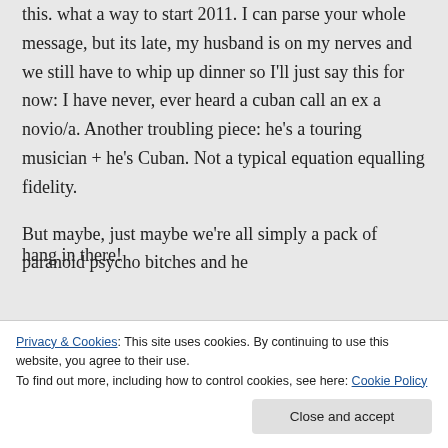this. what a way to start 2011. I can parse your whole message, but its late, my husband is on my nerves and we still have to whip up dinner so I'll just say this for now: I have never, ever heard a cuban call an ex a novio/a. Another troubling piece: he's a touring musician + he's Cuban. Not a typical equation equalling fidelity.
But maybe, just maybe we're all simply a pack of paranoid psycho bitches and he
hang in there!
Privacy & Cookies: This site uses cookies. By continuing to use this website, you agree to their use.
To find out more, including how to control cookies, see here: Cookie Policy